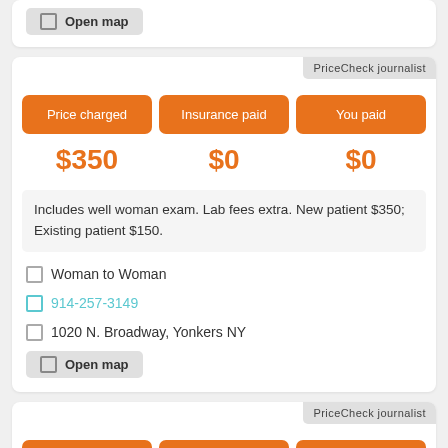Open map
PriceCheck journalist
Price charged
Insurance paid
You paid
$350
$0
$0
Includes well woman exam. Lab fees extra. New patient $350; Existing patient $150.
Woman to Woman
914-257-3149
1020 N. Broadway, Yonkers NY
Open map
PriceCheck journalist
Price charged
Insurance paid
You paid